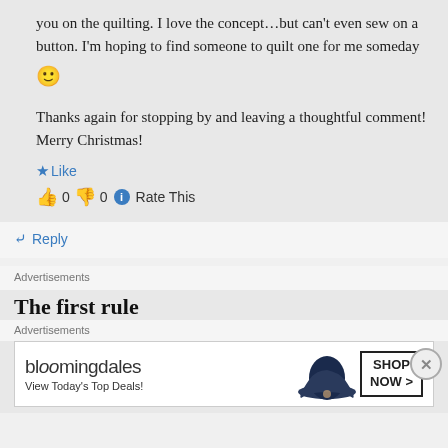you on the quilting. I love the concept…but can't even sew on a button. I'm hoping to find someone to quilt one for me someday 🙂
Thanks again for stopping by and leaving a thoughtful comment! Merry Christmas!
👍 Like
👍 0 👎 0 ℹ Rate This
↪ Reply
Advertisements
The first rule
Advertisements
[Figure (other): Bloomingdale's advertisement banner: bloomingdales logo, 'View Today's Top Deals!', image of woman in hat, 'SHOP NOW >' button]